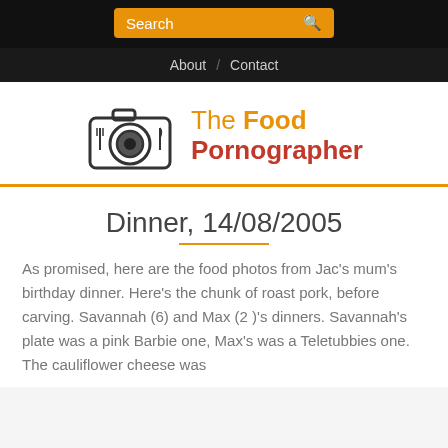Search
About / Contact
[Figure (logo): The Food Pornographer logo — camera icon with fork and knife, site name in orange and red]
Dinner, 14/08/2005
As promised, here are the food photos from Jac's mum's birthday dinner. Here's the chunk of roast pork, before carving. Savannah (6) and Max (2 )'s dinners. Savannah's plate was a pink Barbie one, Max's was a Teletubbies one. The cauliflower cheese was